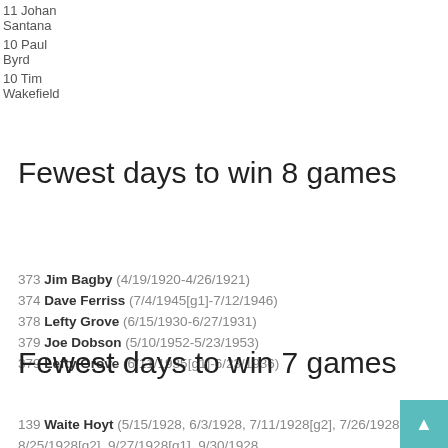|  |  |  |  |  |  |  |  |
| --- | --- | --- | --- | --- | --- | --- | --- |
| 11 Johan Santana |  |  |  |  |  |  |  |
| 10 Paul Byrd |  |  |  |  |  |  |  |
| 10 Tim Wakefield |  |  |  |  |  |  |  |
Fewest days to win 8 games
373 Jim Bagby (4/19/1920-4/26/1921)
374 Dave Ferriss (7/4/1945[g1]-7/12/1946)
378 Lefty Grove (6/15/1930-6/27/1931)
379 Joe Dobson (5/10/1952-5/23/1953)
379 Lefty Grove (6/11/1935[g1]-6/23/1936)
Fewest days to win 7 games
139 Waite Hoyt (5/15/1928, 6/3/1928, 7/11/1928[g2], 7/26/1928[g1], 8/25/1928[g2], 9/27/1928[g1], 9/30/1928
328 Dave Ferriss (9/10/1945[g1]-8/3/1946)